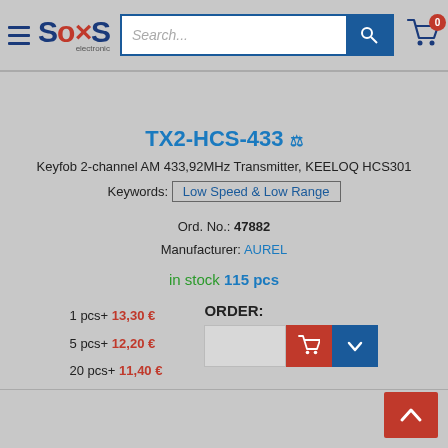SOS electronic — Search bar — Cart (0 items)
TX2-HCS-433
Keyfob 2-channel AM 433,92MHz Transmitter, KEELOQ HCS301
Keywords: Low Speed & Low Range
Ord. No.: 47882
Manufacturer: AUREL
in stock 115 pcs
1 pcs+ 13,30 €
5 pcs+ 12,20 €
20 pcs+ 11,40 €
ORDER: